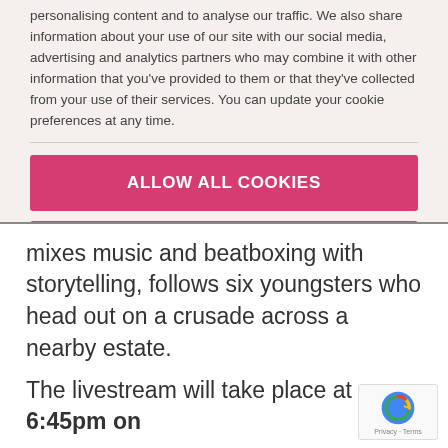personalising content and to analyse our traffic. We also share information about your use of our site with our social media, advertising and analytics partners who may combine it with other information that you've provided to them or that they've collected from your use of their services. You can update your cookie preferences at any time.
ALLOW ALL COOKIES
ALLOW SELECTION
USE NECESSARY COOKIES ONLY
✓ Necessary  ✓ Preferences  ✓ Statistics  ✓ Marketing  Show details ▾
mixes music and beatboxing with storytelling, follows six youngsters who head out on a crusade across a nearby estate.
The livestream will take place at 6:45pm on